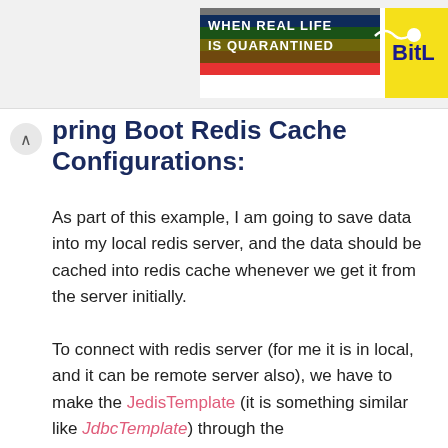[Figure (illustration): Rainbow-colored banner advertisement with text 'WHEN REAL LIFE IS QUARANTINED' and 'BitL' branding on the right side]
pring Boot Redis Cache Configurations:
As part of this example, I am going to save data into my local redis server, and the data should be cached into redis cache whenever we get it from the server initially.
To connect with redis server (for me it is in local, and it can be remote server also), we have to make the JedisTemplate (it is something similar like JdbcTemplate) through the JedisConnectionFactory object